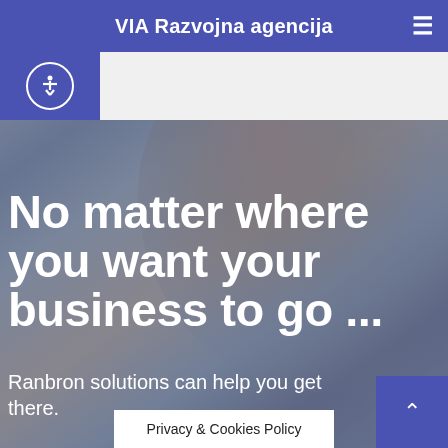VIA Razvojna agencija
[Figure (screenshot): Blurred background photo of a person on a phone, used as hero image with dark blue overlay. Large bold white text overlaid reads: 'No matter where you want your business to go ...' with subtext 'Ranbron solutions can help you get there.']
No matter where you want your business to go ...
Ranbron solutions can help you get there.
Privacy & Cookies Policy